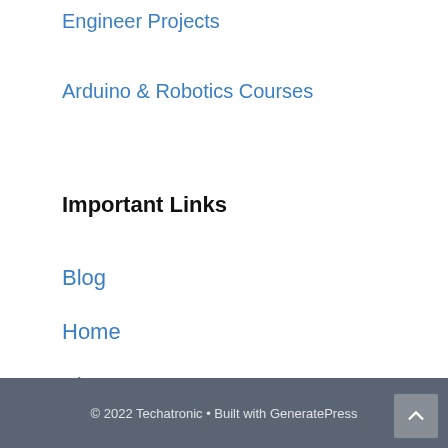Engineer Projects
Arduino & Robotics Courses
Important Links
Blog
Home
About Us
Contact Us
Privacy Policy
© 2022 Techatronic • Built with GeneratePress